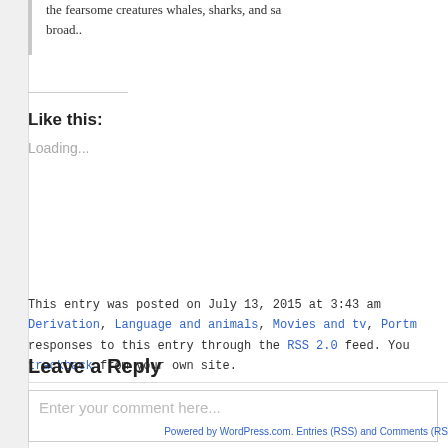the fearsome creatures whales, sharks, and sa broad..
Like this:
Loading...
This entry was posted on July 13, 2015 at 3:43 am Derivation, Language and animals, Movies and tv, Portm responses to this entry through the RSS 2.0 feed. You trackback from your own site.
Leave a Reply
Enter your comment here...
Powered by WordPress.com. Entries (RSS) and Comments (RS